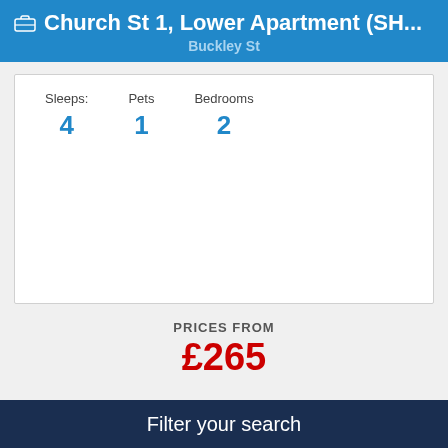Church St 1, Lower Apartment (SH...
Buckley St
| Sleeps: | Pets | Bedrooms |
| --- | --- | --- |
| 4 | 1 | 2 |
PRICES FROM
£265
Filter your search